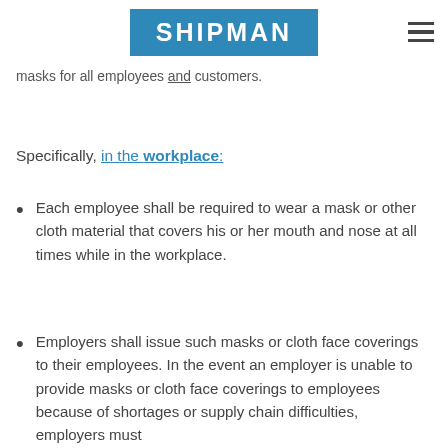SHIPMAN
rules (here) and new retail store rules (here). Both appear to be effective immediately and run until at least May 20, 2020. The rules require masks for all employees and customers.
Specifically, in the workplace:
Each employee shall be required to wear a mask or other cloth material that covers his or her mouth and nose at all times while in the workplace.
Employers shall issue such masks or cloth face coverings to their employees. In the event an employer is unable to provide masks or cloth face coverings to employees because of shortages or supply chain difficulties, employers must